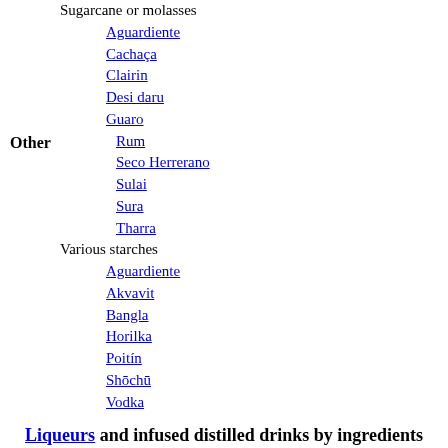Sugarcane or molasses
Aguardiente
Cachaça
Clairin
Desi daru
Guaro
Other
Rum
Seco Herrerano
Sulai
Sura
Tharra
Various starches
Aguardiente
Akvavit
Bangla
Horilka
Poitín
Shōchū
Vodka
Liqueurs and infused distilled drinks by ingredients
Almond
Amaretto
Crème de Noyaux